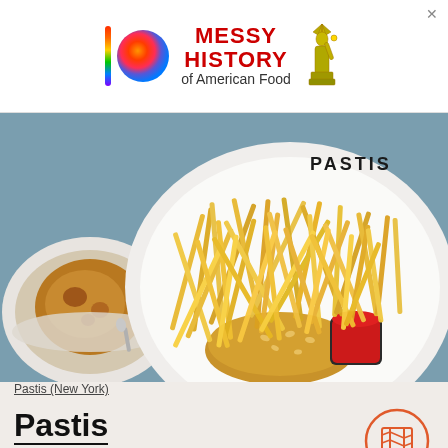[Figure (infographic): Advertisement banner for 'Messy History of American Food' with colorful Apple-style logo, Statue of Liberty illustration, red bold text, and close button]
[Figure (photo): Overhead close-up photo of a plate from Pastis restaurant (New York) showing a burger with sesame bun, large pile of thin french fries, and a small cup of ketchup, with another dish in the background. Plate has 'PASTIS' text on rim.]
Pastis (New York)
Pastis
Meatpacking District
Cheeseburger à l'Américaine